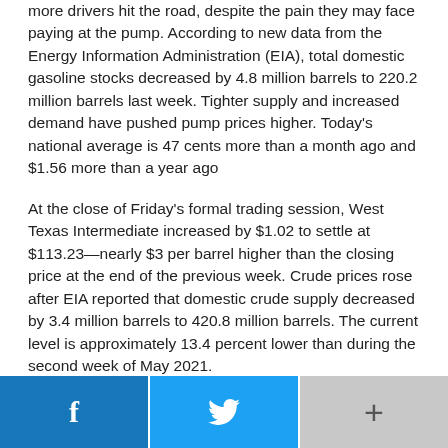more drivers hit the road, despite the pain they may face paying at the pump. According to new data from the Energy Information Administration (EIA), total domestic gasoline stocks decreased by 4.8 million barrels to 220.2 million barrels last week. Tighter supply and increased demand have pushed pump prices higher. Today's national average is 47 cents more than a month ago and $1.56 more than a year ago
At the close of Friday's formal trading session, West Texas Intermediate increased by $1.02 to settle at $113.23—nearly $3 per barrel higher than the closing price at the end of the previous week. Crude prices rose after EIA reported that domestic crude supply decreased by 3.4 million barrels to 420.8 million barrels. The current level is approximately 13.4 percent lower than during the second week of May 2021.
Motorists can find current gas prices nationwide, statewide, and countywide at GasPrices.AAA.com.